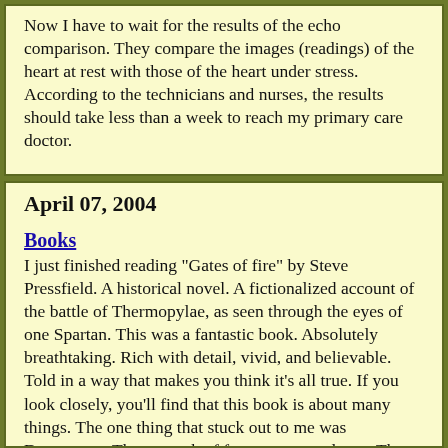Now I have to wait for the results of the echo comparison. They compare the images (readings) of the heart at rest with those of the heart under stress. According to the technicians and nurses, the results should take less than a week to reach my primary care doctor.

I still think it was an anxiety attack, brought on by stress. I hope!
April 07, 2004
Books
I just finished reading "Gates of fire" by Steve Pressfield. A historical novel. A fictionalized account of the battle of Thermopylae, as seen through the eyes of one Spartan. This was a fantastic book. Absolutely breathtaking. Rich with detail, vivid, and believable. Told in a way that makes you think it's all true. If you look closely, you'll find that this book is about many things. The one thing that stuck out to me was Democracy. The strength of free men over slaves. The power of Democracy in the world today.

This book was recommended to me by one of the participants at the 2003 World Forum held in Beaver Creek. A fictionalized account of the battle of Thermopylae, as seen thru the eyes of one Spartan. If I see that person this